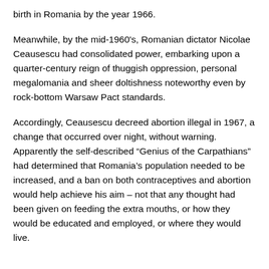birth in Romania by the year 1966.
Meanwhile, by the mid-1960's, Romanian dictator Nicolae Ceausescu had consolidated power, embarking upon a quarter-century reign of thuggish oppression, personal megalomania and sheer doltishness noteworthy even by rock-bottom Warsaw Pact standards.
Accordingly, Ceausescu decreed abortion illegal in 1967, a change that occurred over night, without warning. Apparently the self-described “Genius of the Carpathians” had determined that Romania’s population needed to be increased, and a ban on both contraceptives and abortion would help achieve his aim – not that any thought had been given on feeding the extra mouths, or how they would be educated and employed, or where they would live.